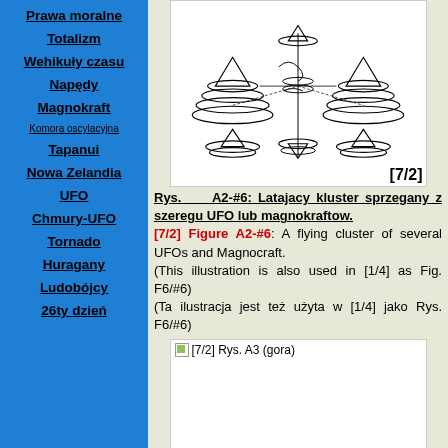Prawa moralne
Totalizm
Wehikuły czasu
Napędy
Magnokraft
Komora oscylacyjna
Tapanui
Nowa Zelandia
UFO
Chmury-UFO
Tornado
Huragany
Ludobójcy
26ty dzień
[Figure (illustration): Technical illustration of a flying cluster of several UFOs/Magnocraft coupled together, showing disc shapes with cones arranged in a formation]
Rys. A2-#6: Latajacy kluster sprzegany z szeregu UFO lub magnokraftow. [7/2] Figure A2-#6: A flying cluster of several UFOs and Magnocraft. (This illustration is also used in [1/4] as Fig. F6/#6) (Ta ilustracja jest też użyta w [1/4] jako Rys. F6/#6)
[Figure (illustration): Second illustration placeholder labeled [7/2] Rys. A3 (gora) - image not loaded]